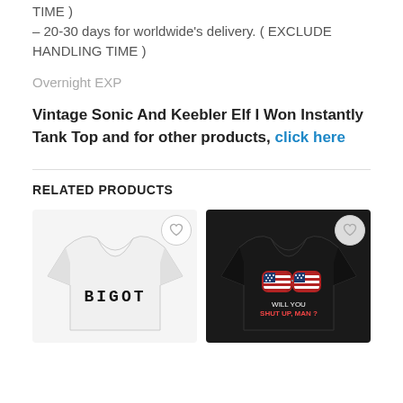– 10-16 days for dom's delivery. (INCLUDE HANDLING TIME)
– 20-30 days for worldwide's delivery. ( EXCLUDE HANDLING TIME )
Overnight EXP
Vintage Sonic And Keebler Elf I Won Instantly Tank Top and for other products, click here
RELATED PRODUCTS
[Figure (photo): White t-shirt with 'BIGOT' text printed in bold black letters]
[Figure (photo): Black t-shirt with American flag aviator sunglasses graphic and 'WILL YOU SHUT UP, MAN?' text]